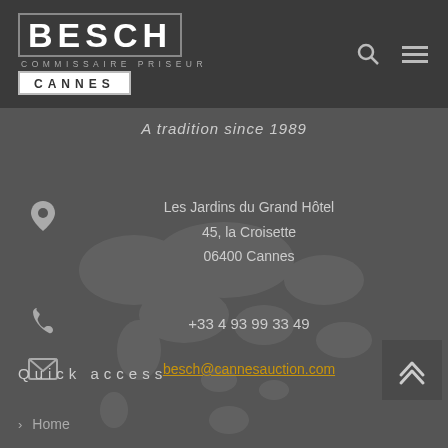[Figure (logo): Besch Commissaire Priseur Cannes logo with bold text and box border]
A tradition since 1989
Les Jardins du Grand Hôtel
45, la Croisette
06400 Cannes
+33 4 93 99 33 49
besch@cannesauction.com
Quick access
Home